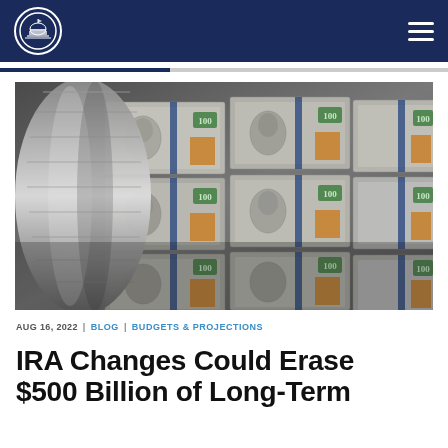Capitol Building logo and navigation
[Figure (photo): Close-up photo of $100 US dollar bills being printed on a large press, showing rows of Benjamin Franklin portraits and blue security strips, partially rolled up on the left side.]
AUG 16, 2022  |  BLOG  |  BUDGETS & PROJECTIONS
IRA Changes Could Erase $500 Billion of Long-Term